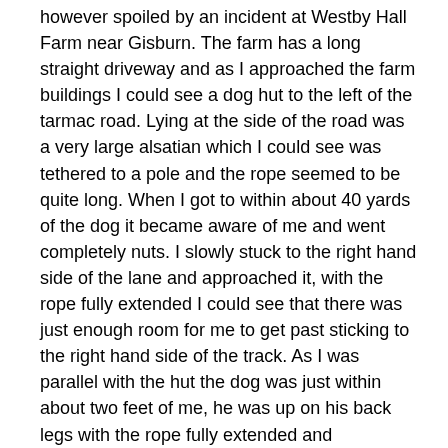however spoiled by an incident at Westby Hall Farm near Gisburn. The farm has a long straight driveway and as I approached the farm buildings I could see a dog hut to the left of the tarmac road. Lying at the side of the road was a very large alsatian which I could see was tethered to a pole and the rope seemed to be quite long. When I got to within about 40 yards of the dog it became aware of me and went completely nuts. I slowly stuck to the right hand side of the lane and approached it, with the rope fully extended I could see that there was just enough room for me to get past sticking to the right hand side of the track. As I was parallel with the hut the dog was just within about two feet of me, he was up on his back legs with the rope fully extended and desperately trying to reach over and get a chunk of me. Once I was safely past, I stopped and looked back. The hut had been positioned opposite the one place where passers by had to stay on the track (either an outbuilding or a caravan jutted out to the tarmac so there was no verge to use) and the dog had been given enough rope to reach just that bit and by sheer...